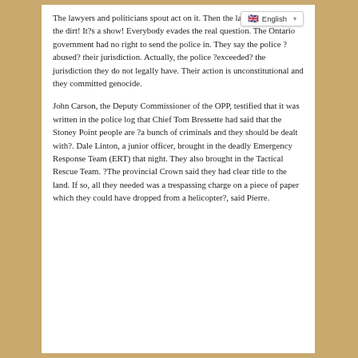The lawyers and politicians spout act on it. Then the lawyers clean up the dirt! It?s a show! Everybody evades the real question. The Ontario government had no right to send the police in. They say the police ?abused? their jurisdiction. Actually, the police ?exceeded? the jurisdiction they do not legally have. Their action is unconstitutional and they committed genocide.
John Carson, the Deputy Commissioner of the OPP, testified that it was written in the police log that Chief Tom Bressette had said that the Stoney Point people are ?a bunch of criminals and they should be dealt with?. Dale Linton, a junior officer, brought in the deadly Emergency Response Team (ERT) that night. They also brought in the Tactical Rescue Team. ?The provincial Crown said they had clear title to the land. If so, all they needed was a trespassing charge on a piece of paper which they could have dropped from a helicopter?, said Pierre.